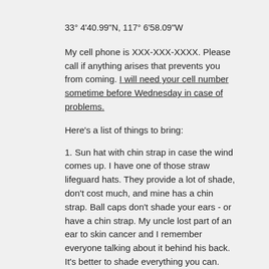33° 4'40.99"N, 117° 6'58.09"W
My cell phone is XXX-XXX-XXXX. Please call if anything arises that prevents you from coming. I will need your cell number sometime before Wednesday in case of problems.
Here's a list of things to bring:
1. Sun hat with chin strap in case the wind comes up. I have one of those straw lifeguard hats. They provide a lot of shade, don't cost much, and mine has a chin strap. Ball caps don't shade your ears - or have a chin strap. My uncle lost part of an ear to skin cancer and I remember everyone talking about it behind his back. It's better to shade everything you can.
2. Sunglasses. Both for UV and for eye safety in case a fishing line breaks and snaps towards you. (It happens.) Photochromic prescription eyeglasses are fine. You must wear them when we are pulling line in case of snap-backs.
3. Shoes that you can wade in and get muddy. You will wade when getting in and out of the kayak and may have to get out at other locations as well. Water shoes, WaterSox, sandals that strap on, old athletic shoes are all fine. It's best if they have some traction on the